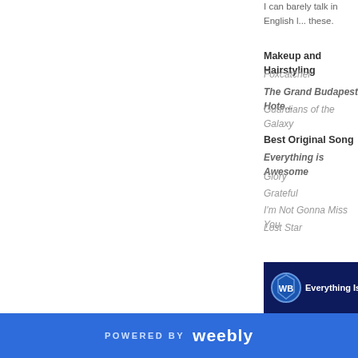I can barely talk in English l... these.
Makeup and Hairstyling
Foxcatcher
The Grand Budapest Hotel
Guardians of the Galaxy
Best Original Song
Everything is Awesome
Glory
Grateful
I'm Not Gonna Miss You
Lost Star
[Figure (screenshot): Warner Bros logo with text 'Everything Is...' and Lego character on blue Lego brick background]
POWERED BY weebly